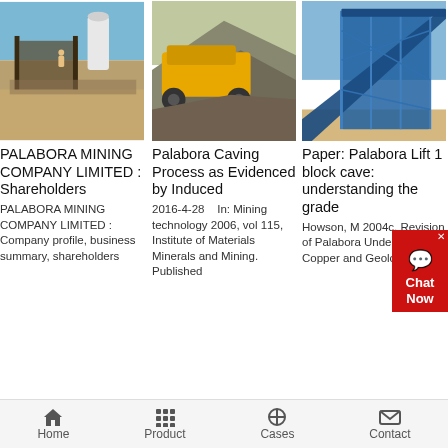[Figure (photo): Industrial mining facility with white tanks and workers, outdoor daytime]
PALABORA MINING COMPANY LIMITED : Shareholders
PALABORA MINING COMPANY LIMITED : Company profile, business summary, shareholders
[Figure (photo): Yellow heavy mining machine with pile of crushed rock/gravel]
Palabora Caving Process as Evidenced by Induced
2016-4-28   In: Mining technology 2006, vol 115, Institute of Materials Minerals and Mining. Published
[Figure (photo): Blue industrial conveyor/processing structure at a mining facility]
Paper: Palabora Lift 1 block cave: understanding the grade
Howson, M 2004c, Revision of Palabora Underground Copper and Geology and
Home   Product   Cases   Contact